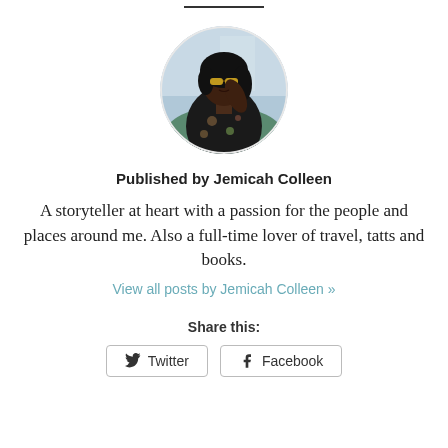[Figure (photo): Circular avatar photo of Jemicah Colleen, a woman wearing yellow sunglasses and a floral outfit, photographed outdoors]
Published by Jemicah Colleen
A storyteller at heart with a passion for the people and places around me. Also a full-time lover of travel, tatts and books.
View all posts by Jemicah Colleen »
Share this:
Twitter
Facebook